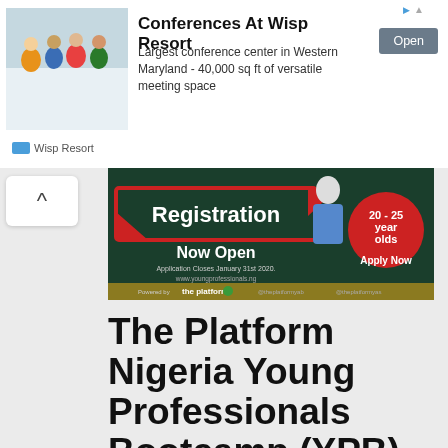[Figure (infographic): Advertisement banner for Conferences At Wisp Resort showing skiers photo on left]
Conferences At Wisp Resort
Largest conference center in Western Maryland - 40,000 sq ft of versatile meeting space
Wisp Resort
[Figure (infographic): Registration Now Open banner for The Platform Nigeria Young Professionals Bootcamp 2020, application closes January 31st 2020, for 20-25 year olds, Apply Now, www.youngprofessionals.ng, Powered by the platform]
The Platform Nigeria Young Professionals Bootcamp (YPB) 2020